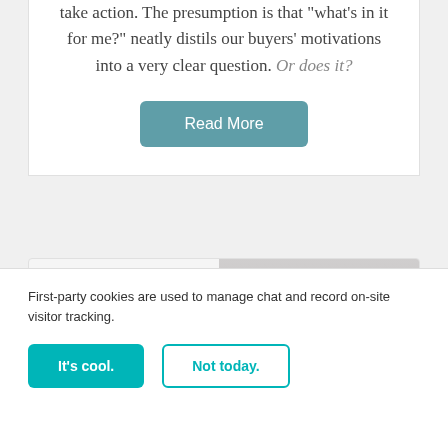take action. The presumption is that “what’s in it for me?” neatly distils our buyers’ motivations into a very clear question. Or does it?
Read More
[Figure (photo): Photo showing legs of a person in dark clothing from the knees down, cropped at right side of card]
First-party cookies are used to manage chat and record on-site visitor tracking.
It’s cool.
Not today.